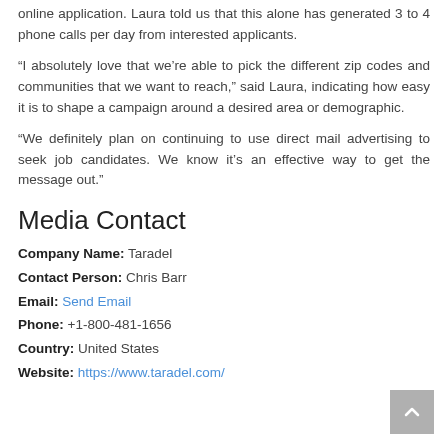online application. Laura told us that this alone has generated 3 to 4 phone calls per day from interested applicants.
“I absolutely love that we’re able to pick the different zip codes and communities that we want to reach,” said Laura, indicating how easy it is to shape a campaign around a desired area or demographic.
“We definitely plan on continuing to use direct mail advertising to seek job candidates. We know it’s an effective way to get the message out.”
Media Contact
Company Name: Taradel
Contact Person: Chris Barr
Email: Send Email
Phone: +1-800-481-1656
Country: United States
Website: https://www.taradel.com/